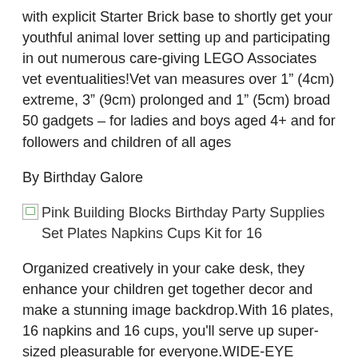with explicit Starter Brick base to shortly get your youthful animal lover setting up and participating in out numerous care-giving LEGO Associates vet eventualities!Vet van measures over 1” (4cm) extreme, 3” (9cm) prolonged and 1” (5cm) broad 50 gadgets – for ladies and boys aged 4+ and for followers and children of all ages
By Birthday Galore
[Figure (other): Broken image placeholder for Pink Building Blocks Birthday Party Supplies Set Plates Napkins Cups Kit for 16]
Organized creatively in your cake desk, they enhance your children get together decor and make a stunning image backdrop.With 16 plates, 16 napkins and 16 cups, you'll serve up super-sized pleasurable for everyone.WIDE-EYE WONDER and shrieks of delight might be your reward everytime you cope with your child to these pleasurable and vividly colored children get together